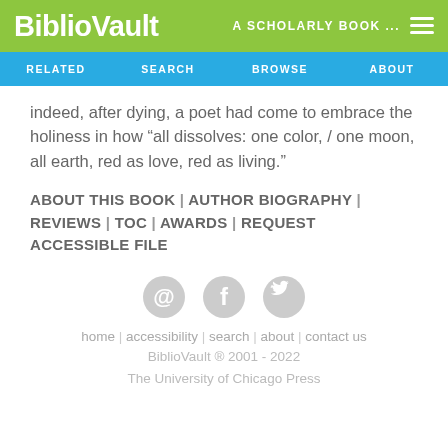BiblioVault  A SCHOLARLY BOOK ...
RELATED | SEARCH | BROWSE | ABOUT
indeed, after dying, a poet had come to embrace the holiness in how “all dissolves: one color, / one moon, all earth, red as love, red as living.”
ABOUT THIS BOOK | AUTHOR BIOGRAPHY | REVIEWS | TOC | AWARDS | REQUEST ACCESSIBLE FILE
[Figure (infographic): Social media icons: email (@), Facebook, Twitter]
home | accessibility | search | about | contact us
BiblioVault ® 2001 - 2022
The University of Chicago Press